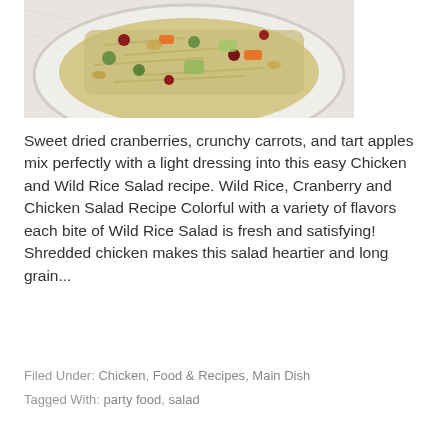[Figure (photo): A plate with chicken and wild rice salad containing dried cranberries, carrots, green onions, and other colorful ingredients on a marble surface.]
Sweet dried cranberries, crunchy carrots, and tart apples mix perfectly with a light dressing into this easy Chicken and Wild Rice Salad recipe. Wild Rice, Cranberry and Chicken Salad Recipe Colorful with a variety of flavors each bite of Wild Rice Salad is fresh and satisfying! Shredded chicken makes this salad heartier and long grain...
Filed Under: Chicken, Food & Recipes, Main Dish
Tagged With: party food, salad